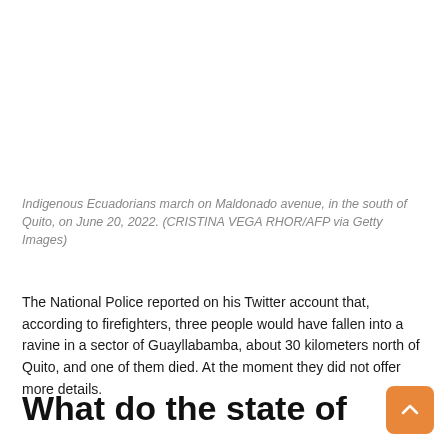[Figure (photo): Indigenous Ecuadorians marching on Maldonado avenue in Quito — image area appears white/blank in this crop]
Indigenous Ecuadorians march on Maldonado avenue, in the south of Quito, on June 20, 2022. (CRISTINA VEGA RHOR/AFP via Getty Images)
The National Police reported on his Twitter account that, according to firefighters, three people would have fallen into a ravine in a sector of Guayllabamba, about 30 kilometers north of Quito, and one of them died. At the moment they did not offer more details.
What do the state of